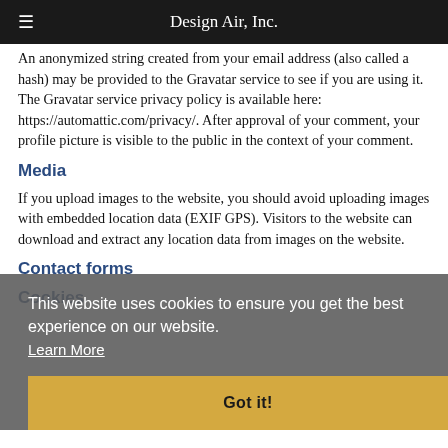Design Air, Inc.
An anonymized string created from your email address (also called a hash) may be provided to the Gravatar service to see if you are using it. The Gravatar service privacy policy is available here: https://automattic.com/privacy/. After approval of your comment, your profile picture is visible to the public in the context of your comment.
Media
If you upload images to the website, you should avoid uploading images with embedded location data (EXIF GPS). Visitors to the website can download and extract any location data from images on the website.
Contact forms
Cookies
This website uses cookies to ensure you get the best experience on our website. Learn More Got it!